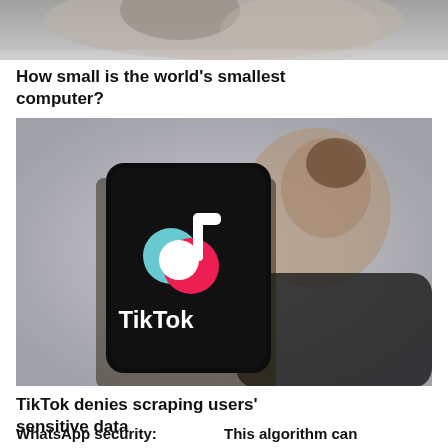[Figure (photo): Top portion of a photo, cropped — shows what appears to be a person's face/head from above, partial view, blurred background]
How small is the world's smallest computer?
[Figure (photo): A person holding a smartphone displaying the TikTok app logo and name. The person's face is blurred/obscured in the background. The phone screen shows the TikTok musical note logo in white, red, and teal, and the word 'TikTok' in white text.]
TikTok denies scraping users' sensitive data
WhatsApp security:   This algorithm can